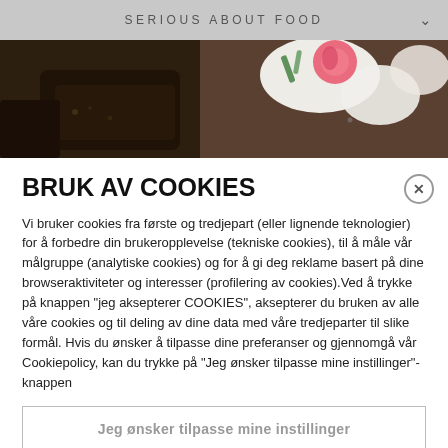SERIOUS ABOUT FOOD
[Figure (photo): Close-up food photo showing dark bread/crackers with white cream and radish garnish with herbs]
BRUK AV COOKIES
Vi bruker cookies fra første og tredjepart (eller lignende teknologier) for å forbedre din brukeropplevelse (tekniske cookies), til å måle vår målgruppe (analytiske cookies) og for å gi deg reklame basert på dine browseraktiviteter og interesser (profilering av cookies).Ved å trykke på knappen "jeg aksepterer COOKIES", aksepterer du bruken av alle våre cookies og til deling av dine data med våre tredjeparter til slike formål. Hvis du ønsker å tilpasse dine preferanser og gjennomgå vår Cookiepolicy, kan du trykke på "Jeg ønsker tilpasse mine instillinger"-knappen
Jeg ønsker tilpasse mine instillinger